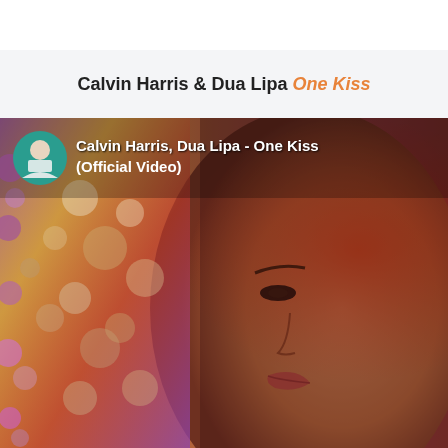Calvin Harris & Dua Lipa One Kiss
[Figure (screenshot): YouTube video thumbnail showing Calvin Harris, Dua Lipa - One Kiss (Official Video). Features a close-up of a woman's face (Dua Lipa) with sparkly curly hair decoration on the left side. Warm orange and red lighting. A circular avatar of Calvin Harris wearing a white t-shirt is shown in the upper left corner next to the video title text.]